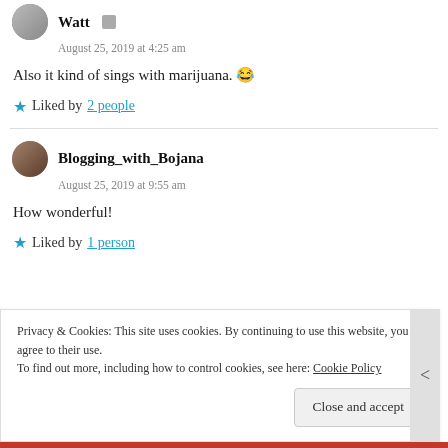Watt
August 25, 2019 at 4:25 am
Also it kind of sings with marijuana. 😂
★ Liked by 2 people
Blogging_with_Bojana
August 25, 2019 at 9:55 am
How wonderful!
★ Liked by 1 person
Privacy & Cookies: This site uses cookies. By continuing to use this website, you agree to their use.
To find out more, including how to control cookies, see here: Cookie Policy
Close and accept